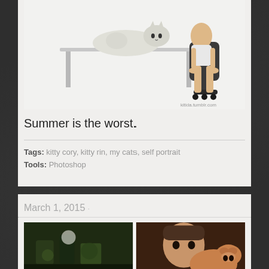[Figure (illustration): A cartoon/illustration showing a cat lying on a desk/table and a person sitting in a gaming chair, in a summer scene. Watermark reads 'kitida.tumblr.com']
Summer is the worst.
Tags: kitty cory, kitty rin, my cats, self portrait
Tools: Photoshop
March 1, 2015 ·
[Figure (photo): Two photos side by side: left shows plants and terrarium/aquarium items on a table; right shows a person with a dog (corgi or similar).]